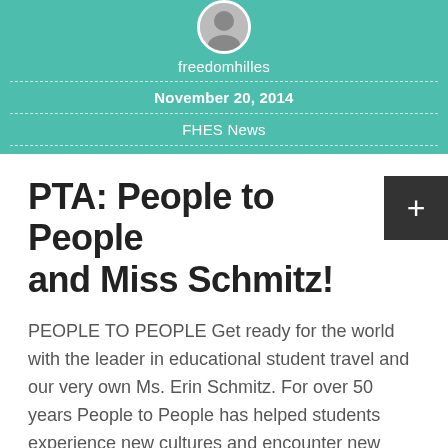freedomhilles
November 20, 2014
FHES News
PTA: People to People and Miss Schmitz!
PEOPLE TO PEOPLE Get ready for the world with the leader in educational student travel and our very own Ms. Erin Schmitz. For over 50 years People to People has helped students experience new cultures and encounter new places as no other tour group can. This summer, Ms. Schmitz, a 3rd grade teacher here at [...]